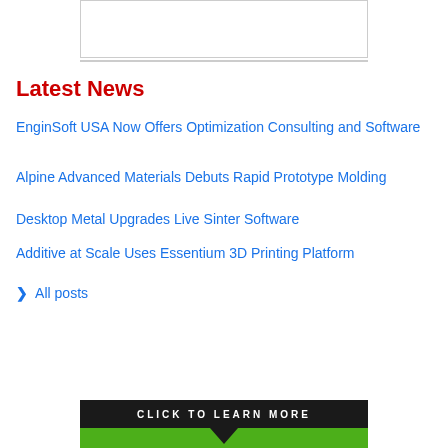[Figure (other): White box with border at top of page]
Latest News
EnginSoft USA Now Offers Optimization Consulting and Software
Alpine Advanced Materials Debuts Rapid Prototype Molding
Desktop Metal Upgrades Live Sinter Software
Additive at Scale Uses Essentium 3D Printing Platform
All posts
[Figure (other): Black banner at bottom with text CLICK TO LEARN MORE and green bar with downward arrow]